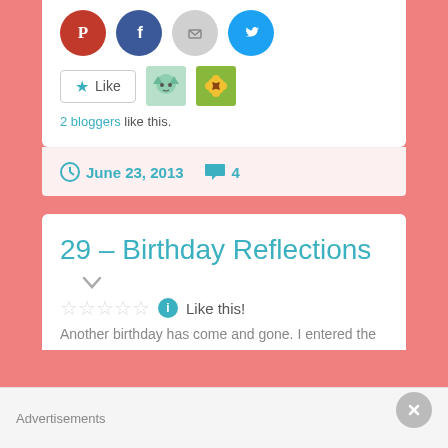[Figure (screenshot): Social share icons: Pinterest (red), Facebook (blue), Email (gray), Twitter (cyan)]
2 bloggers like this.
June 23, 2013  4
29 – Birthday Reflections
☆☆☆☆☆  Like this!
Another birthday has come and gone. I entered the
Advertisements